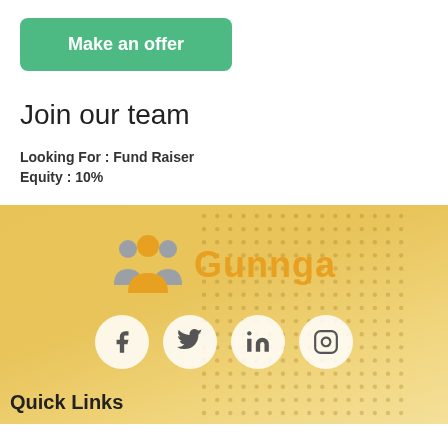Make an offer
Join our team
Looking For : Fund Raiser
Equity : 10%
[Figure (logo): Gunnga logo with group of people icon and text Gunnga in orange]
[Figure (infographic): Social media icons: Facebook, Twitter, LinkedIn, Instagram in circular white buttons]
Quick Links